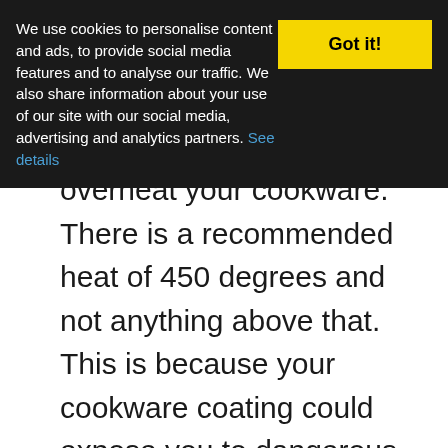We use cookies to personalise content and ads, to provide social media features and to analyse our traffic. We also share information about your use of our site with our social media, advertising and analytics partners. See details
overheat your cookware. There is a recommended heat of 450 degrees and not anything above that. This is because your cookware coating could expose you to dangerous gases when heated at higher temperatures.